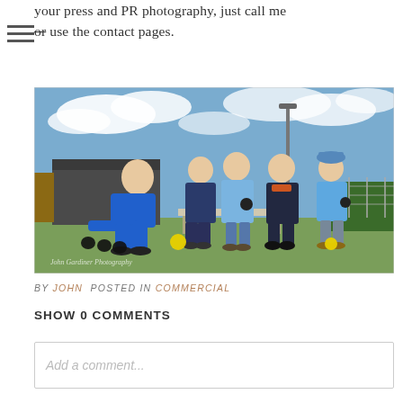your press and PR photography, just call me or use the contact pages.
[Figure (photo): Five people on a bowling green outdoors. One man in a blue top is crouching down rolling a yellow ball toward several black and yellow bowls on the grass. Three others stand behind him in blue tops, and a woman in a dark jacket stands among them. A clubhouse building, wooden benches, a hedge, and partly cloudy blue sky are visible in the background. A photographer's watermark signature is visible in the lower left corner.]
BY JOHN POSTED IN COMMERCIAL
SHOW 0 COMMENTS
Add a comment...